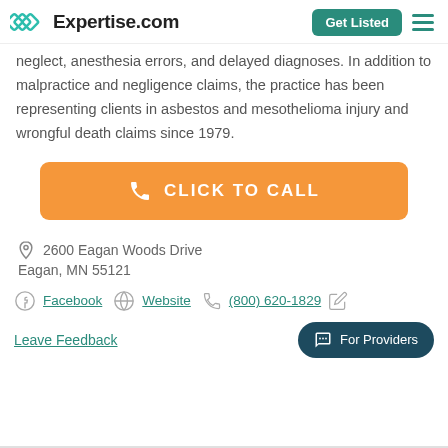Expertise.com — Get Listed
neglect, anesthesia errors, and delayed diagnoses. In addition to malpractice and negligence claims, the practice has been representing clients in asbestos and mesothelioma injury and wrongful death claims since 1979.
[Figure (other): Orange 'CLICK TO CALL' button with phone icon]
2600 Eagan Woods Drive
Eagan, MN 55121
Facebook  Website  (800) 620-1829
Leave Feedback
For Providers